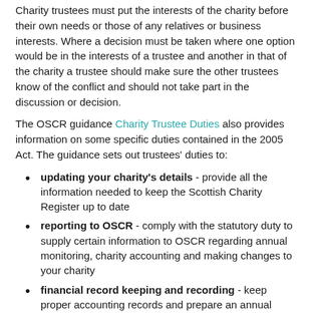Charity trustees must put the interests of the charity before their own needs or those of any relatives or business interests. Where a decision must be taken where one option would be in the interests of a trustee and another in that of the charity a trustee should make sure the other trustees know of the conflict and should not take part in the discussion or decision.
The OSCR guidance Charity Trustee Duties also provides information on some specific duties contained in the 2005 Act. The guidance sets out trustees' duties to:
updating your charity's details - provide all the information needed to keep the Scottish Charity Register up to date
reporting to OSCR - comply with the statutory duty to supply certain information to OSCR regarding annual monitoring, charity accounting and making changes to your charity
financial record keeping and recording - keep proper accounting records and prepare an annual statement of account and annual report which are externally scrutinised and sent alongside the annual return to OSCR